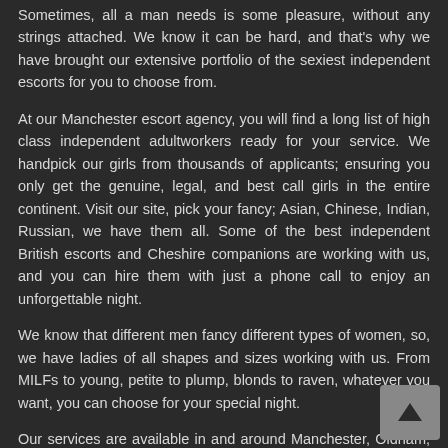Sometimes, all a man needs is some pleasure, without any strings attached. We know it can be hard, and that's why we have brought our extensive portfolio of the sexiest independent escorts for you to choose from.
At our Manchester escort agency, you will find a long list of high class independent adultworkers ready for your service. We handpick our girls from thousands of applicants; ensuring you only get the genuine, legal, and best call girls in the entire continent. Visit our site, pick your fancy; Asian, Chinese, Indian, Russian, we have them all. Some of the best independent British escorts and Cheshire companions are working with us, and you can hire them with just a phone call to enjoy an unforgettable night.
We know that different men fancy different types of women, so, we have ladies of all shapes and sizes working with us. From MILFs to young, petite to plump, blonds to raven, whatever you want, you can choose for your special night.
Our services are available in and around Manchester, Oldham, Liverpool, Preston, Blackburn, and Manchester airport. Feel free to call us anytime; we are available 24/7